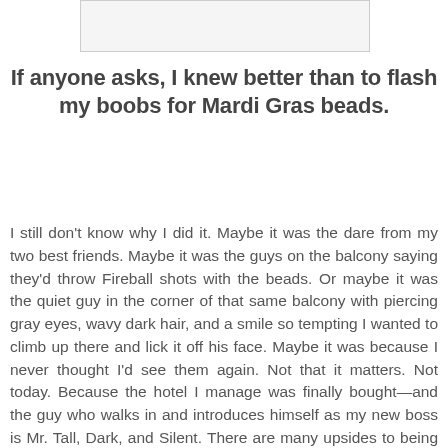[Figure (other): White rectangular image placeholder box with light border]
If anyone asks, I knew better than to flash my boobs for Mardi Gras beads.
I still don't know why I did it. Maybe it was the dare from my two best friends. Maybe it was the guys on the balcony saying they'd throw Fireball shots with the beads. Or maybe it was the quiet guy in the corner of that same balcony with piercing gray eyes, wavy dark hair, and a smile so tempting I wanted to climb up there and lick it off his face. Maybe it was because I never thought I'd see them again. Not that it matters. Not today. Because the hotel I manage was finally bought—and the guy who walks in and introduces himself as my new boss is Mr. Tall, Dark, and Silent. There are many upsides to being single.